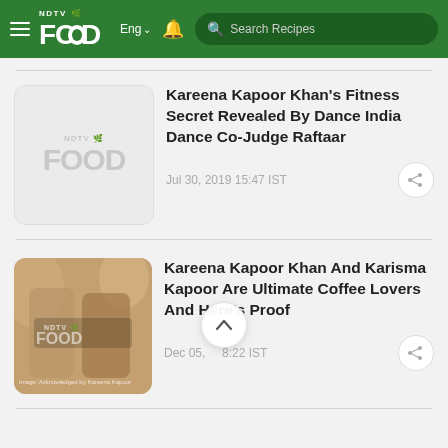NDTV Food — Eng — Search Recipes
Kareena Kapoor Khan's Fitness Secret Revealed By Dance India Dance Co-Judge Raftaar
Jul 30, 2019 15:47 IST
Kareena Kapoor Khan And Karisma Kapoor Are Ultimate Coffee Lovers And Here's Proof
Dec 05, [2018] [0]8:22 IST